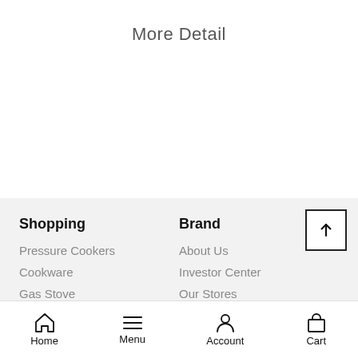More Detail
Shopping
Brand
Pressure Cookers
About Us
Cookware
Investor Center
Gas Stove
Our Stores
Home  Menu  Account  Cart